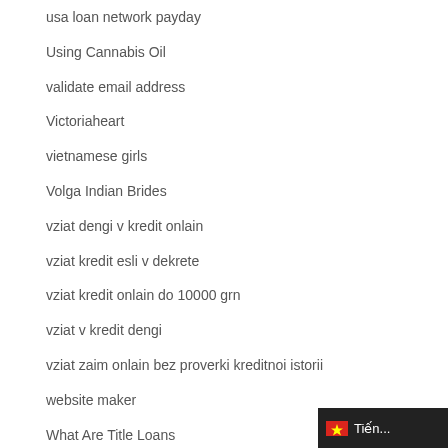usa loan network payday
Using Cannabis Oil
validate email address
Victoriaheart
vietnamese girls
Volga Indian Brides
vziat dengi v kredit onlain
vziat kredit esli v dekrete
vziat kredit onlain do 10000 grn
vziat v kredit dengi
vziat zaim onlain bez proverki kreditnoi istorii
website maker
What Are Title Loans
What Cbd Oil To Buy
what should i write my research paper about